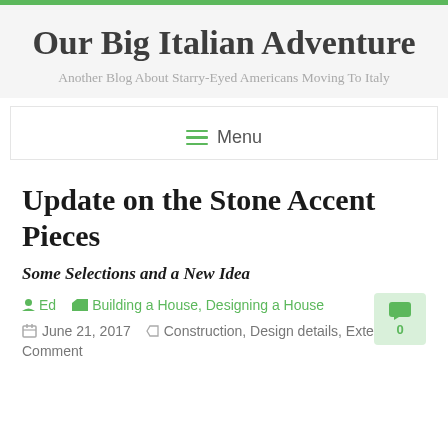Our Big Italian Adventure
Another Blog About Starry-Eyed Americans Moving To Italy
Menu
Update on the Stone Accent Pieces
Some Selections and a New Idea
Ed   Building a House, Designing a House
June 21, 2017   Construction, Design details, Exterior
Comment   0